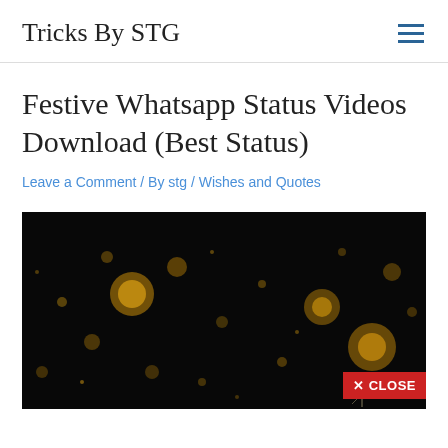Tricks By STG
Festive Whatsapp Status Videos Download (Best Status)
Leave a Comment / By stg / Wishes and Quotes
[Figure (photo): Dark background with golden bokeh light particles scattered across — a festive/cinematic visual with a red CLOSE button overlay in the bottom right corner.]